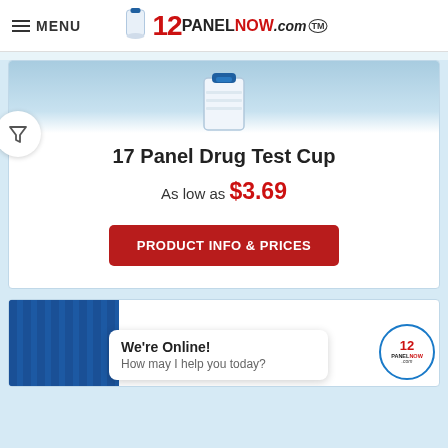≡ MENU | 12PANELNOW.com™
[Figure (photo): Top portion of product card with light blue gradient background, partially showing a drug test cup image at top]
17 Panel Drug Test Cup
As low as $3.69
PRODUCT INFO & PRICES
[Figure (photo): Bottom product card showing blue drug test cups partially visible]
We're Online! How may I help you today?